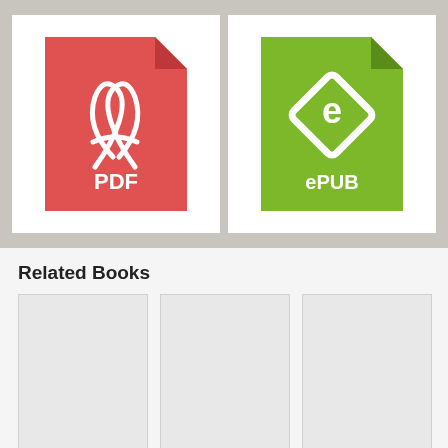[Figure (illustration): PDF file icon - red document with folded corner and Adobe Acrobat logo with 'PDF' text in white]
[Figure (illustration): ePUB file icon - green document with folded corner and ePub diamond logo with 'ePUB' text in white]
Related Books
[Figure (illustration): Book cover placeholder - light gray rectangle]
The Angels of Sojourn Novella Boxed Set: A Romantic ...
[Figure (illustration): Book cover placeholder - light gray rectangle]
The Burning Alchemist (Temporal Armistice Book 5)
[Figure (illustration): Book cover placeholder - light gray rectangle]
Written with You (The Regret Duet, #2)